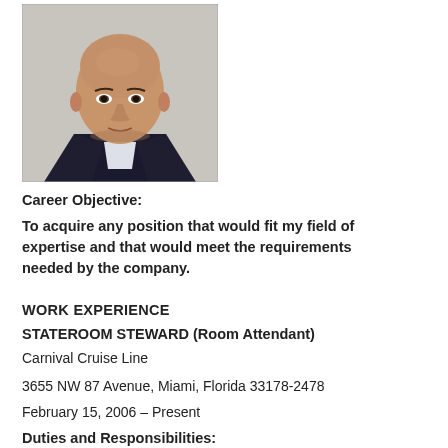[Figure (photo): Professional headshot of a bald Asian male wearing a dark suit jacket, white dress shirt, and striped tie, against a light gray background.]
Career Objective:
To acquire any position that would fit my field of expertise and that would meet the requirements needed by the company.
WORK EXPERIENCE
STATEROOM STEWARD (Room Attendant)
Carnival Cruise Line
3655 NW 87 Avenue, Miami, Florida 33178-2478
February 15, 2006 – Present
Duties and Responsibilities: